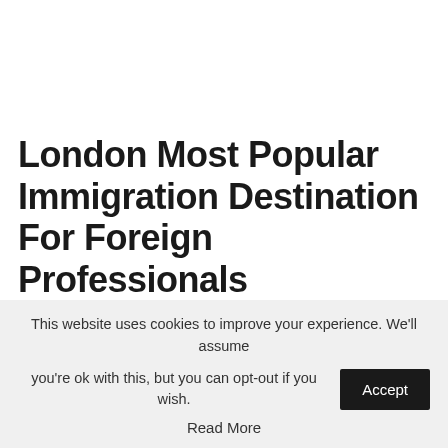London Most Popular Immigration Destination For Foreign Professionals
This website uses cookies to improve your experience. We'll assume you're ok with this, but you can opt-out if you wish. Accept Read More